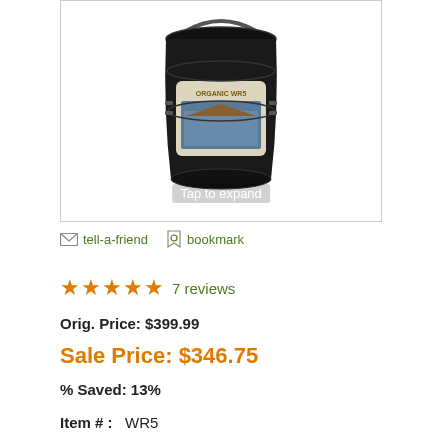[Figure (photo): A black 5-gallon bucket/pail of Organic WR5 wood finish product with a label showing a house image, with 'Tap to expand' overlay text]
tell-a-friend   bookmark
★★★★★  7 reviews
Orig. Price: $399.99
Sale Price: $346.75
% Saved: 13%
Item # :   WR5